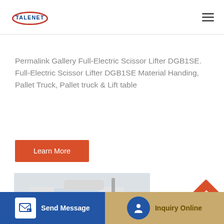TALENET
Permalink Gallery Full-Electric Scissor Lifter DGB1SE. Full-Electric Scissor Lifter DGB1SE Material Handing, Pallet Truck, Pallet truck & Lift table
Learn More
[Figure (photo): Front view of a white semi-truck cab against a light grey sky background]
Send Message
Inquiry Online